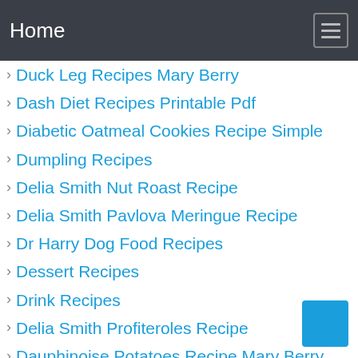Home
Duck Leg Recipes Mary Berry
Dash Diet Recipes Printable Pdf
Diabetic Oatmeal Cookies Recipe Simple
Dumpling Recipes
Delia Smith Nut Roast Recipe
Delia Smith Pavlova Meringue Recipe
Dr Harry Dog Food Recipes
Dessert Recipes
Drink Recipes
Delia Smith Profiteroles Recipe
Dauphinoise Potatoes Recipe Mary Berry
Delia Smith Fruit Scones Recipe